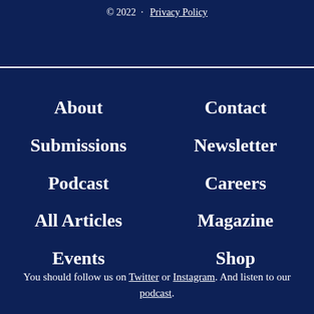© 2022 · Privacy Policy
About
Submissions
Podcast
All Articles
Events
Contact
Newsletter
Careers
Magazine
Shop
You should follow us on Twitter or Instagram. And listen to our podcast.